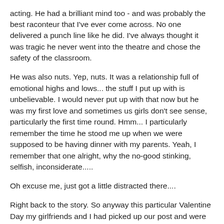acting. He had a brilliant mind too - and was probably the best raconteur that I've ever come across. No one delivered a punch line like he did. I've always thought it was tragic he never went into the theatre and chose the safety of the classroom.
He was also nuts. Yep, nuts. It was a relationship full of emotional highs and lows... the stuff I put up with is unbelievable. I would never put up with that now but he was my first love and sometimes us girls don't see sense, particularly the first time round. Hmm... I particularly remember the time he stood me up when we were supposed to be having dinner with my parents. Yeah, I remember that one alright, why the no-good stinking, selfish, inconsiderate.....
Oh excuse me, just got a little distracted there....
Right back to the story. So anyway this particular Valentine Day my girlfriends and I had picked up our post and were seated at a big table in the dining room (we were in halls) and opening our cards. So Mrs T (or Miss D as I was then)